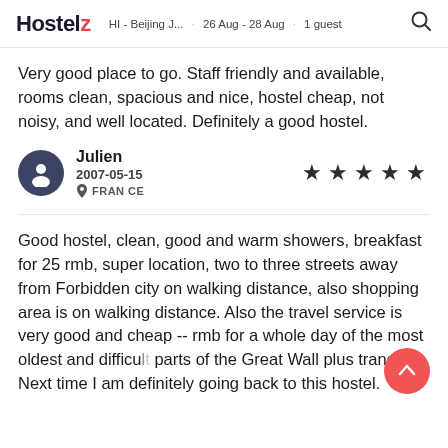Hostelz   HI - Beijing J...   · 26 Aug - 28 Aug · 1 guest
Very good place to go. Staff friendly and available, rooms clean, spacious and nice, hostel cheap, not noisy, and well located. Definitely a good hostel.
Julien
2007-05-15
FRANCE
★★★★★
Good hostel, clean, good and warm showers, breakfast for 25 rmb, super location, two to three streets away from Forbidden city on walking distance, also shopping area is on walking distance. Also the travel service is very good and cheap -- rmb for a whole day of the most oldest and difficult parts of the Great Wall plus transport. Next time I am definitely going back to this hostel.